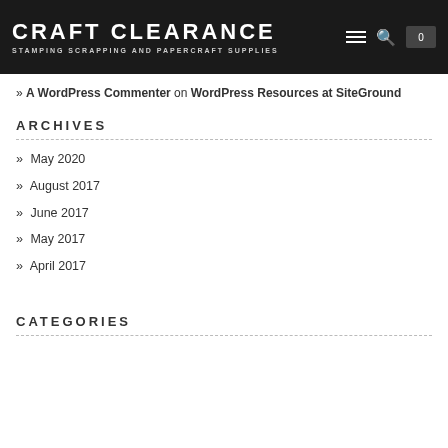CRAFT CLEARANCE — STAMPING SCRAPPING AND PAPERCRAFT SUPPLIES
» A WordPress Commenter on WordPress Resources at SiteGround
ARCHIVES
» May 2020
» August 2017
» June 2017
» May 2017
» April 2017
CATEGORIES